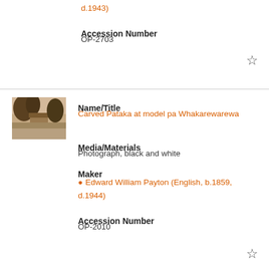d.1943)
Accession Number
OP-2703
[Figure (photo): Sepia-toned photograph of a street or village scene with trees]
Name/Title
Carved Pataka at model pa Whakarewarewa
Media/Materials
Photograph, black and white
Maker
Edward William Payton (English, b.1859, d.1944)
Accession Number
OP-2010